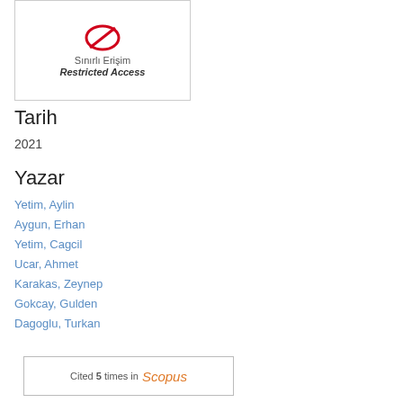[Figure (other): Restricted access badge showing a red circle with a line (restricted icon), with text 'Sınırlı Erişim' and 'Restricted Access' inside a bordered box]
Tarih
2021
Yazar
Yetim, Aylin
Aygun, Erhan
Yetim, Cagcil
Ucar, Ahmet
Karakas, Zeynep
Gokcay, Gulden
Dagoglu, Turkan
[Figure (other): Scopus citation badge: 'Cited 5 times in Scopus' inside a bordered box]